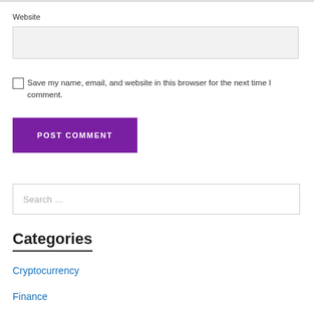Website
Save my name, email, and website in this browser for the next time I comment.
POST COMMENT
Search …
Categories
Cryptocurrency
Finance